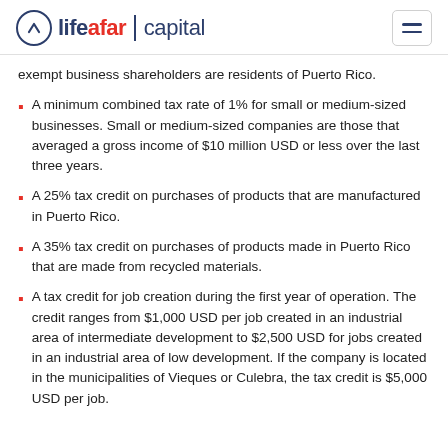lifeafar capital
exempt business shareholders are residents of Puerto Rico.
A minimum combined tax rate of 1% for small or medium-sized businesses. Small or medium-sized companies are those that averaged a gross income of $10 million USD or less over the last three years.
A 25% tax credit on purchases of products that are manufactured in Puerto Rico.
A 35% tax credit on purchases of products made in Puerto Rico that are made from recycled materials.
A tax credit for job creation during the first year of operation. The credit ranges from $1,000 USD per job created in an industrial area of intermediate development to $2,500 USD for jobs created in an industrial area of low development. If the company is located in the municipalities of Vieques or Culebra, the tax credit is $5,000 USD per job.